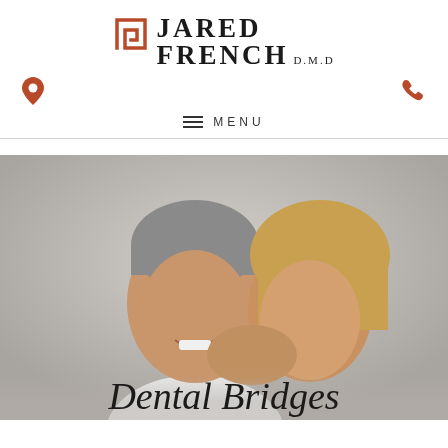[Figure (logo): Jared French DMD dental practice logo with stylized square icon in dark orange/rust color]
JARED FRENCH D.M.D
MENU
[Figure (photo): Middle-aged smiling couple, man with grey hair and woman with blonde hair, on grey background. Page title 'Dental Bridges' overlaid at bottom.]